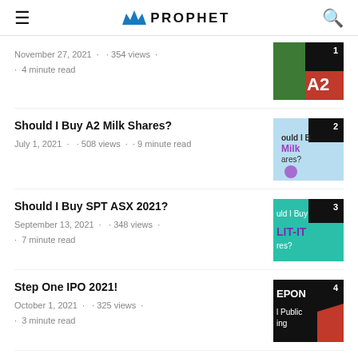PROPHET
November 27, 2021 · 354 views · 4 minute read
[Figure (photo): Thumbnail image for article 1, ranked #1, showing a bull/cow image with green and red colors, partial text 'A20']
Should I Buy A2 Milk Shares?
July 1, 2021 · 508 views · 9 minute read
[Figure (photo): Thumbnail ranked #2 for A2 Milk Shares article with blue background and milk carton graphic]
Should I Buy SPT ASX 2021?
September 13, 2021 · 348 views · 7 minute read
[Figure (photo): Thumbnail ranked #3 for SPT ASX 2021 article with teal background and LIT-IT text]
Step One IPO 2021!
October 1, 2021 · 325 views · 3 minute read
[Figure (photo): Thumbnail ranked #4 for Step One IPO article with black background, red geometric shape, text EPON and Public]
Three Stocks To Watch In 2022
[Figure (photo): Thumbnail ranked #5 for Three Stocks article, partially visible, grey background with text '3 Sto']